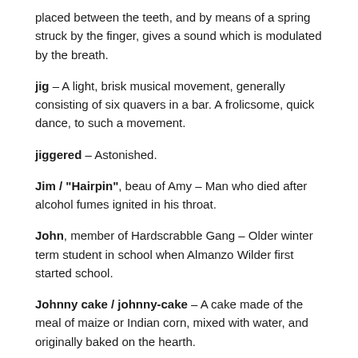placed between the teeth, and by means of a spring struck by the finger, gives a sound which is modulated by the breath.
jig – A light, brisk musical movement, generally consisting of six quavers in a bar. A frolicsome, quick dance, to such a movement.
jiggered – Astonished.
Jim / "Hairpin", beau of Amy – Man who died after alcohol fumes ignited in his throat.
John, member of Hardscrabble Gang – Older winter term student in school when Almanzo Wilder first started school.
Johnny cake / johnny-cake – A cake made of the meal of maize or Indian corn, mixed with water, and originally baked on the hearth.
Johnny Rebs – The personification of any Confederate soldier (rebel) during the Civil War.
Johnson children, unnamed students in Perry School – Robert